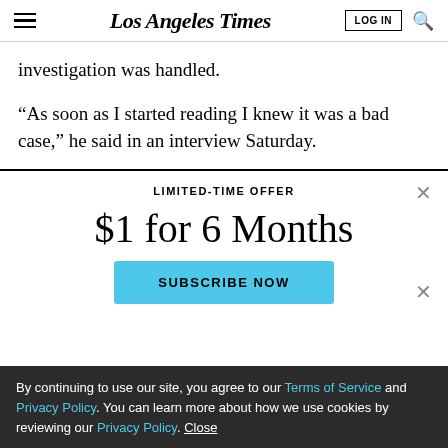Los Angeles Times | LOG IN | [search]
investigation was handled.
“As soon as I started reading I knew it was a bad case,” he said in an interview Saturday.
LIMITED-TIME OFFER
$1 for 6 Months
SUBSCRIBE NOW
By continuing to use our site, you agree to our Terms of Service and Privacy Policy. You can learn more about how we use cookies by reviewing our Privacy Policy. Close